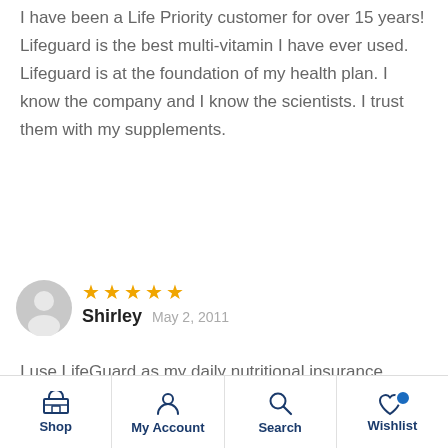I have been a Life Priority customer for over 15 years! Lifeguard is the best multi-vitamin I have ever used. Lifeguard is at the foundation of my health plan. I know the company and I know the scientists. I trust them with my supplements.
[Figure (illustration): User avatar icon (gray silhouette) for Shirley reviewer]
Shirley   May 2, 2011
I use LifeGuard as my daily nutritional insurance policy. I love this product and feel great! My doctor's visits have been for wellness visits only, and I haven't been sick in years! God bless. -S. Thompson
Shop   My Account   Search   Wishlist